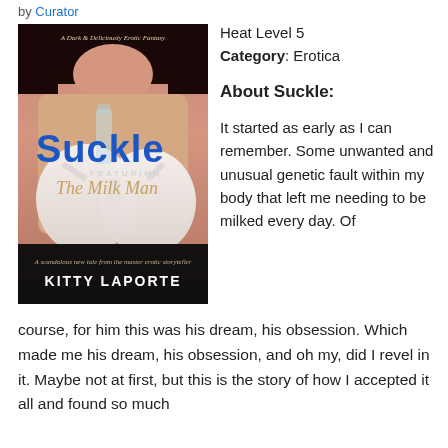by Curator
[Figure (photo): Book cover for 'Suckle featuring The Milk Man' by Kitty Laporte. A Dark & Deliciously Erotic Fantasy. A scandalous new tale from the master erotic storyteller.]
Heat Level 5
Category: Erotica
About Suckle:
It started as early as I can remember. Some unwanted and unusual genetic fault within my body that left me needing to be milked every day. Of course, for him this was his dream, his obsession. Which made me his dream, his obsession, and oh my, did I revel in it. Maybe not at first, but this is the story of how I accepted it all and found so much